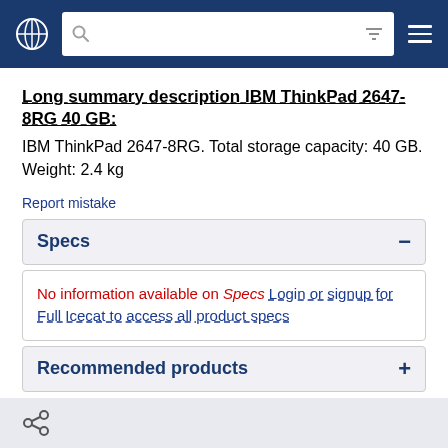Navigation bar with globe icon, search bar, filter icon, and menu icon
Long summary description IBM ThinkPad 2647-8RG 40 GB:
IBM ThinkPad 2647-8RG. Total storage capacity: 40 GB. Weight: 2.4 kg
Report mistake
Specs
No information available on Specs Login or signup for Full Icecat to access all product specs
Recommended products
Share icon